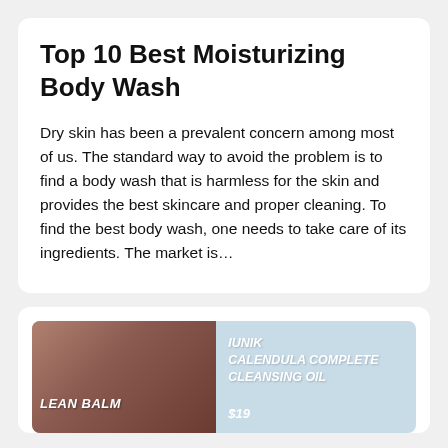Top 10 Best Moisturizing Body Wash
Dry skin has been a prevalent concern among most of us. The standard way to avoid the problem is to find a body wash that is harmless for the skin and provides the best skincare and proper cleaning. To find the best body wash, one needs to take care of its ingredients. The market is…
[Figure (photo): Two product images side by side: left shows a dark reddish-brown cleansing balm product with text 'LEAN BALM' on a pinkish-tan background; right shows IUNIK Calendula Complete Cleansing Oil product on a light blue background with price $19]